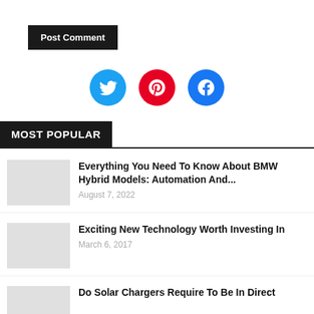Post Comment
[Figure (illustration): Three social media icons: Twitter (blue circle with bird), Pinterest (red circle with P), Facebook (blue circle with f)]
MOST POPULAR
Everything You Need To Know About BMW Hybrid Models: Automation And...
August 7, 2022
Exciting New Technology Worth Investing In
March 6, 2017
Do Solar Chargers Require To Be In Direct